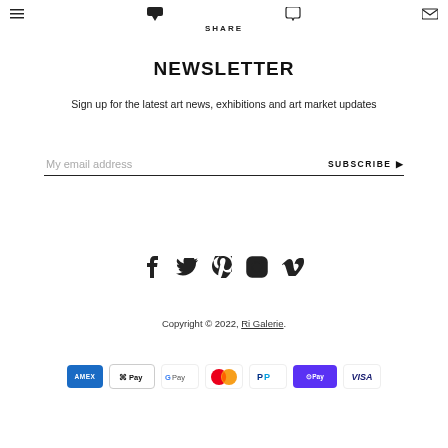SHARE
NEWSLETTER
Sign up for the latest art news, exhibitions and art market updates
My email address  SUBSCRIBE ▶
[Figure (other): Social media icons: Facebook, Twitter, Pinterest, Instagram, Vimeo]
Copyright © 2022, Ri Galerie.
[Figure (other): Payment method icons: American Express, Apple Pay, Google Pay, Mastercard, PayPal, Shop Pay, Visa]